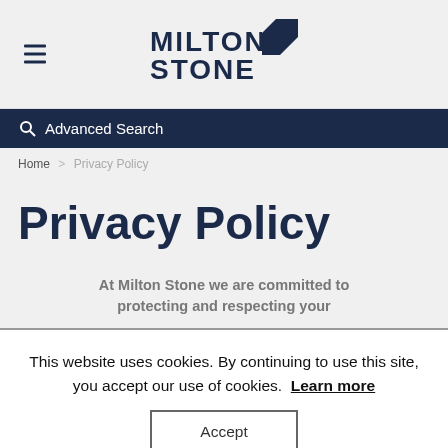MILTON STONE
Advanced Search
Home > Privacy Policy
Privacy Policy
At Milton Stone we are committed to protecting and respecting your
This website uses cookies. By continuing to use this site, you accept our use of cookies. Learn more
Accept